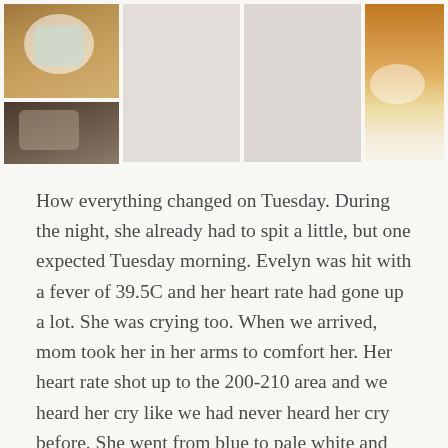[Figure (photo): Grid of four baby/child photos: top-left shows a swaddled baby in a basket on an orange background, bottom-left shows a baby lying down, middle two panels are light gray placeholders, right panel shows a child lying on an orange/cream blanket.]
How everything changed on Tuesday. During the night, she already had to spit a little, but one expected Tuesday morning. Evelyn was hit with a fever of 39.5C and her heart rate had gone up a lot. She was crying too. When we arrived, mom took her in her arms to comfort her. Her heart rate shot up to the 200-210 area and we heard her cry like we had never heard her cry before. She went from blue to pale white and the doctors decided to take action and intubate her again, and to give her some additional support medically. We are so glad they